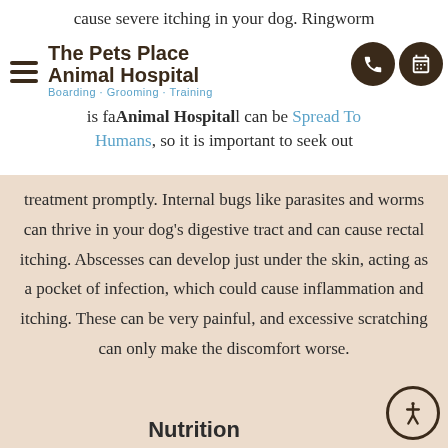cause severe itching in your dog. Ringworm is fa... Animal Hospital ...l can be Spread To Humans, so it is important to seek out
treatment promptly. Internal bugs like parasites and worms can thrive in your dog's digestive tract and can cause rectal itching. Abscesses can develop just under the skin, acting as a pocket of infection, which could cause inflammation and itching. These can be very painful, and excessive scratching can only make the discomfort worse.
Nutrition